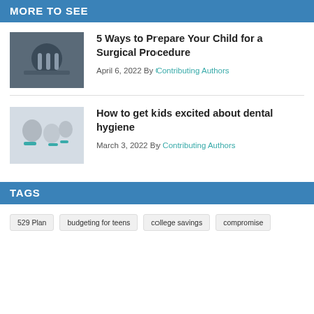MORE TO SEE
5 Ways to Prepare Your Child for a Surgical Procedure
April 6, 2022 By Contributing Authors
How to get kids excited about dental hygiene
March 3, 2022 By Contributing Authors
TAGS
529 Plan
budgeting for teens
college savings
compromise